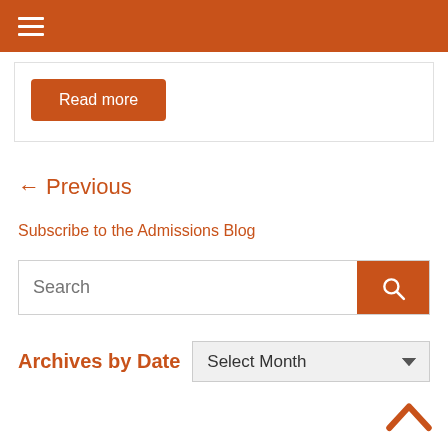Navigation menu (hamburger icon)
Read more
← Previous
Subscribe to the Admissions Blog
Search
Archives by Date  Select Month